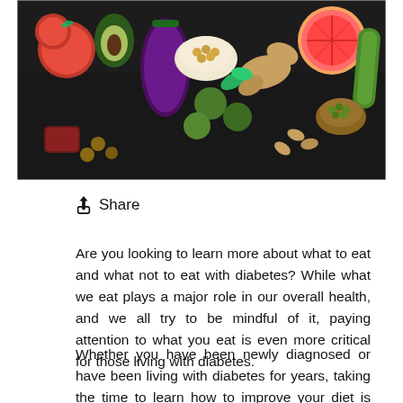[Figure (photo): Overhead view of various healthy foods on a dark slate surface including tomatoes, avocado, eggplant, brussels sprouts, ginger, grapefruit, cucumber, almonds, chickpeas, and other vegetables and legumes.]
⬆ Share
Are you looking to learn more about what to eat and what not to eat with diabetes? While what we eat plays a major role in our overall health, and we all try to be mindful of it, paying attention to what you eat is even more critical for those living with diabetes.
Whether you have been newly diagnosed or have been living with diabetes for years, taking the time to learn how to improve your diet is never a bad idea. Some of the most effective ways to